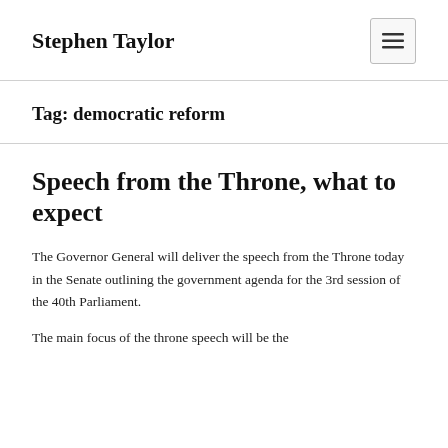Stephen Taylor
Tag: democratic reform
Speech from the Throne, what to expect
The Governor General will deliver the speech from the Throne today in the Senate outlining the government agenda for the 3rd session of the 40th Parliament.
The main focus of the throne speech will be the